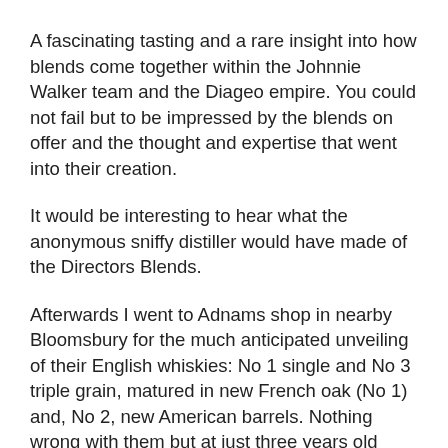A fascinating tasting and a rare insight into how blends come together within the Johnnie Walker team and the Diageo empire. You could not fail but to be impressed by the blends on offer and the thought and expertise that went into their creation.
It would be interesting to hear what the anonymous sniffy distiller would have made of the Directors Blends.
Afterwards I went to Adnams shop in nearby Bloomsbury for the much anticipated unveiling of their English whiskies: No 1 single and No 3 triple grain, matured in new French oak (No 1) and, No 2, new American barrels. Nothing wrong with them but at just three years old from a novice distiller, relatively speaking, they suffered by comparison. Nevertheless, an interesting and worthy new entrant to the world of whisky. These whiskies will sell out - if they haven't already, such is the worldwide thirst for whisky, particularly scotch whisky.